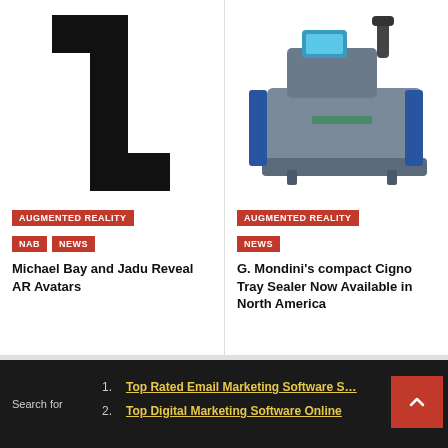[Figure (logo): Large black stylized '1' or bracket/arrow logo mark on white background]
[Figure (photo): G. Mondini compact Cigno Tray Sealer machine - industrial packaging equipment in grey/blue/silver colors]
AUGMENTED REALITY
NAB
NEWS
Michael Bay and Jadu Reveal AR Avatars
AUGMENTED REALITY
NEWS
G. Mondini's compact Cigno Tray Sealer Now Available in North America
Search for
1. Top Rated Email Marketing Software S…
2. Top Digital Marketing Software Online